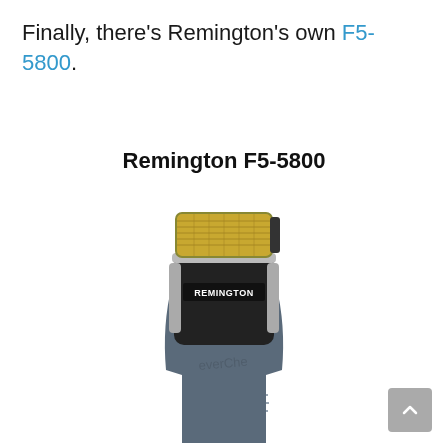Finally, there's Remington's own F5-5800.
Remington F5-5800
[Figure (photo): Photo of the Remington F5-5800 electric foil shaver, showing the top portion with gold foil head, black and silver body with Remington logo, and part of the handle. A faint watermark 'everChe' is visible on the body.]